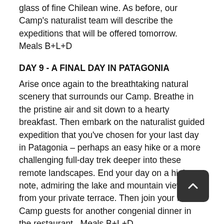glass of fine Chilean wine. As before, our Camp's naturalist team will describe the expeditions that will be offered tomorrow.  Meals B+L+D
DAY 9 - A FINAL DAY IN PATAGONIA
Arise once again to the breathtaking natural scenery that surrounds our Camp. Breathe in the pristine air and sit down to a hearty breakfast. Then embark on the naturalist guided expedition that you've chosen for your last day in Patagonia – perhaps an easy hike or a more challenging full-day trek deeper into these remote landscapes. End your day on a high-note, admiring the lake and mountain views from your private terrace. Then join your fellow Camp guests for another congenial dinner in the restaurant.  Meals B+L+D
DAY 10 - TO PUNTA ARENAS + SANTIAGO
Return to Punta Arenas for your flight to Santiago.